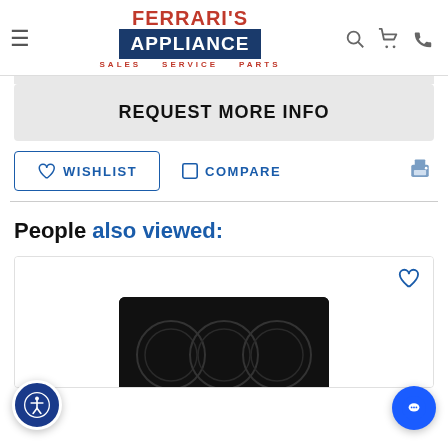Ferrari's Appliance - Sales Service Parts
REQUEST MORE INFO
WISHLIST   COMPARE
People also viewed:
[Figure (photo): Product card showing a black electric cooktop with circular burner outlines. Heart/wishlist icon in top-right corner.]